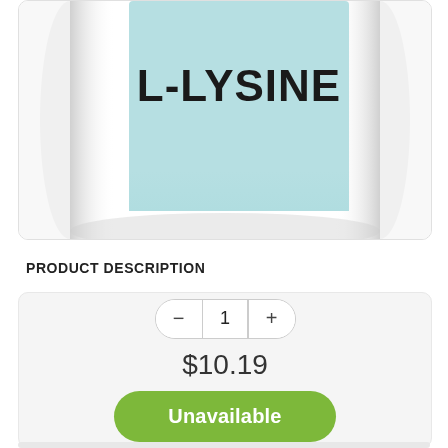[Figure (photo): Close-up of a white supplement bottle with a light blue label showing 'L-LYSINE' text in bold black letters, partially cropped at the top]
PRODUCT DESCRIPTION
1
$10.19
Unavailable